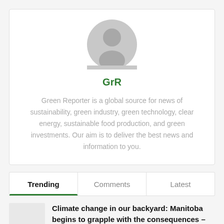[Figure (illustration): Generic user avatar icon — grey circle with silhouette of head and shoulders]
GrR
Green Reporter is a global source for news of sustainability, green industry, green technology, clear energy, sustainable food production, and green investments. Our aim is to deliver the best news and information to you.
Trending	Comments	Latest
Climate change in our backyard: Manitoba begins to grapple with the consequences – Winnipeg